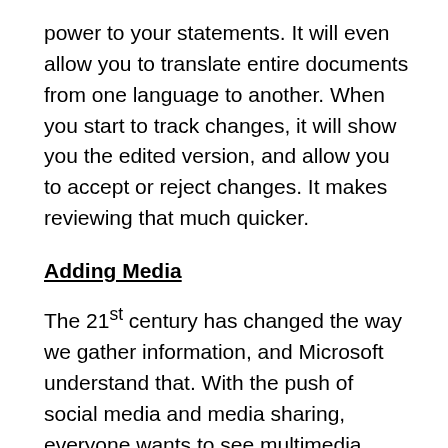power to your statements. It will even allow you to translate entire documents from one language to another. When you start to track changes, it will show you the edited version, and allow you to accept or reject changes. It makes reviewing that much quicker.
Adding Media
The 21st century has changed the way we gather information, and Microsoft understand that. With the push of social media and media sharing, everyone wants to see multimedia presentations. With the ability to insert videos and images from major websites and Facebook, you can take your presentations to the next level. With just few clicks and you can pull your YouTube and Facebook media right into your documents and presentations.